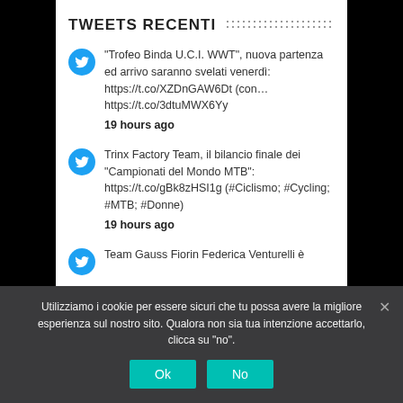TWEETS RECENTI
"Trofeo Binda U.C.I. WWT", nuova partenza ed arrivo saranno svelati venerdì: https://t.co/XZDnGAW6Dt (con… https://t.co/3dtuMWX6Yy
19 hours ago
Trinx Factory Team, il bilancio finale dei "Campionati del Mondo MTB": https://t.co/gBk8zHSI1g (#Ciclismo; #Cycling; #MTB; #Donne)
19 hours ago
Team Gauss Fiorin Federica Venturelli è
Utilizziamo i cookie per essere sicuri che tu possa avere la migliore esperienza sul nostro sito. Qualora non sia tua intenzione accettarlo, clicca su "no".